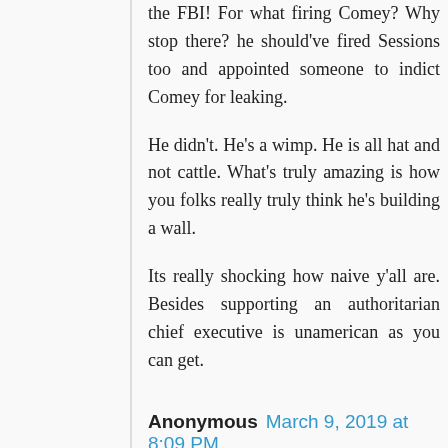the FBI! For what firing Comey? Why stop there? he should've fired Sessions too and appointed someone to indict Comey for leaking.
He didn't. He's a wimp. He is all hat and not cattle. What's truly amazing is how you folks really truly think he's building a wall.
Its really shocking how naive y'all are. Besides supporting an authoritarian chief executive is unamerican as you can get.
Anonymous  March 9, 2019 at 8:09 PM
And, with your third attempt at contributing, you go all y'all and give away the uniparty hog puppet mutation that is you.
Yep.
Now, put away the smart phone and change your diaper. No, it won't hold another load. Just do it.